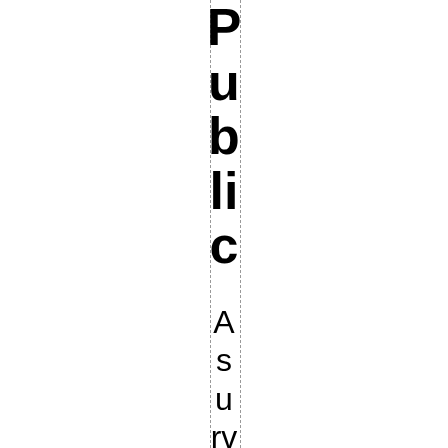Public A survey conducted by an
[Figure (other): Dashed vertical border lines flanking the text column]